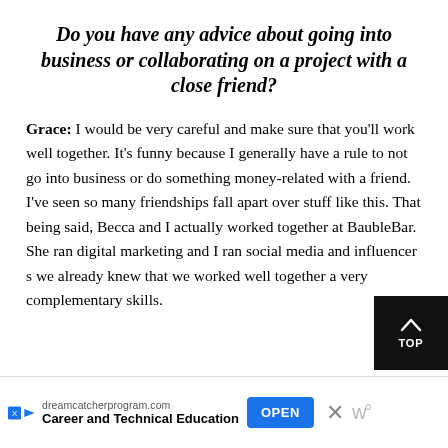Do you have any advice about going into business or collaborating on a project with a close friend?
Grace: I would be very careful and make sure that you'll work well together. It's funny because I generally have a rule to not go into business or do something money-related with a friend. I've seen so many friendships fall apart over stuff like this. That being said, Becca and I actually worked together at BaubleBar. She ran digital marketing and I ran social media and influencer s... we already knew that we worked well together a... very complementary skills.
[Figure (other): Advertisement banner: dreamcatcherprogram.com — Career and Technical Education, with OPEN button and close X]